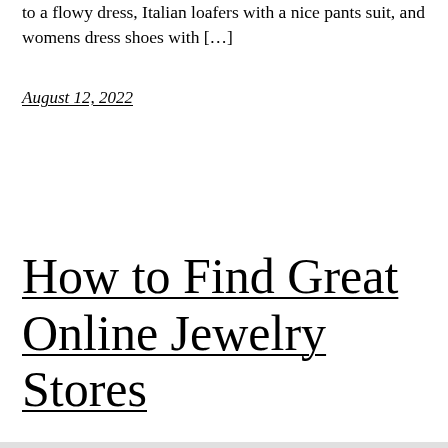to a flowy dress, Italian loafers with a nice pants suit, and womens dress shoes with […]
August 12, 2022
How to Find Great Online Jewelry Stores